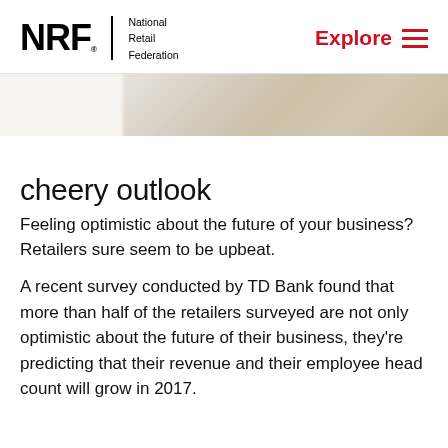NRF National Retail Federation | Explore
[Figure (photo): Partial view of a photo showing papers or documents on a desk, cropped at the top of the page.]
cheery outlook
Feeling optimistic about the future of your business? Retailers sure seem to be upbeat.
A recent survey conducted by TD Bank found that more than half of the retailers surveyed are not only optimistic about the future of their business, they're predicting that their revenue and their employee head count will grow in 2017.